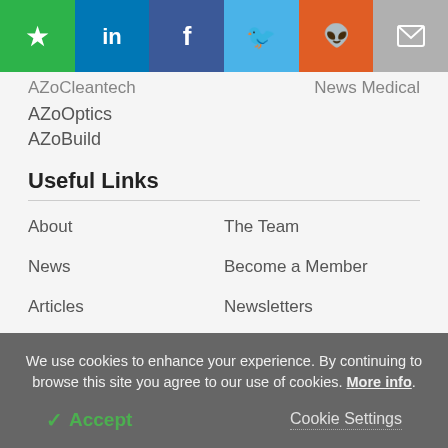[Figure (other): Social sharing bar with icons: Bookmark (green), LinkedIn (blue), Facebook (dark blue), Twitter (light blue), Reddit (orange), Email (gray)]
AZoCleantech
News Medical
AZoOptics
AZoBuild
Useful Links
About
The Team
News
Become a Member
Articles
Newsletters
Interviews
Contact
Lab Equipment
Search
We use cookies to enhance your experience. By continuing to browse this site you agree to our use of cookies. More info.
✓ Accept    Cookie Settings